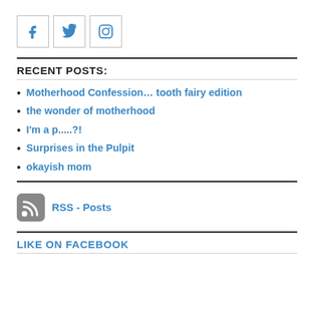[Figure (other): Three social media icon buttons: Facebook, Twitter, Instagram]
RECENT POSTS:
Motherhood Confession... tooth fairy edition
the wonder of motherhood
I'm a p.....?!
Surprises in the Pulpit
okayish mom
[Figure (other): RSS feed icon with link labeled RSS - Posts]
LIKE ON FACEBOOK